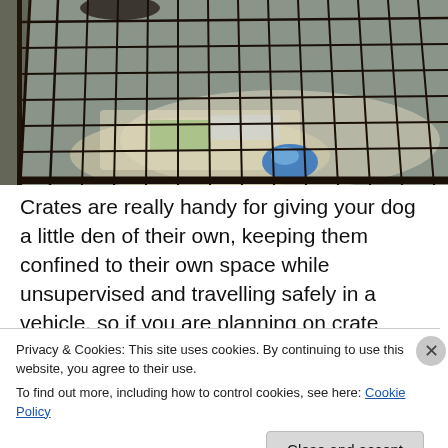[Figure (photo): A wire dog crate/cage on a grey carpet, with colorful bedding/blanket inside and a blue water bowl at the bottom front. The cage has black metal wire bars.]
Crates are really handy for giving your dog a little den of their own, keeping them confined to their own space while unsupervised and travelling safely in a vehicle, so if you are planning on crate training your dog then get it ready
Privacy & Cookies: This site uses cookies. By continuing to use this website, you agree to their use.
To find out more, including how to control cookies, see here: Cookie Policy
Close and accept